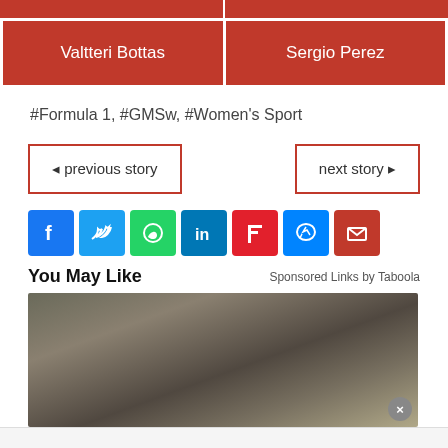| Valtteri Bottas | Sergio Perez |
#Formula 1, #GMSw, #Women's Sport
◄ previous story
next story ►
[Figure (infographic): Social sharing icons: Facebook, Twitter, WhatsApp, LinkedIn, Flipboard, Messenger, Email]
You May Like
Sponsored Links by Taboola
[Figure (photo): Two dirty/dusty cars with debris visible between them, outdoor setting]